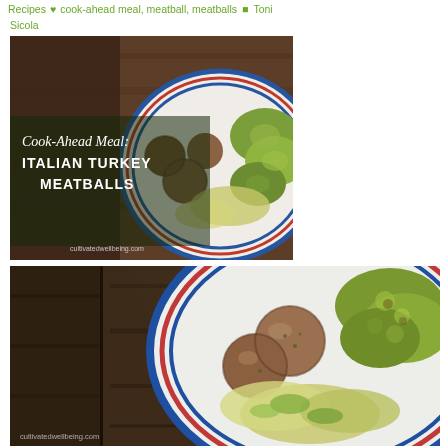Recipes  ♥ cook-ahead meal, meatball, meatballs  ☰ Toni Sicola
[Figure (photo): Blog post thumbnail image for Cook-Ahead Meal: Italian Turkey Meatballs. Shows a white plate with blue and red striped rim containing turkey meatballs and roasted brussels sprouts on a wooden surface. Text overlay reads 'Cook-Ahead Meal: Italian Turkey Meatballs'. Website URL cultivatedwellbeing.com shown at bottom.]
[Figure (photo): Large close-up food photograph showing a white plate with blue and red striped rim containing turkey meatballs, roasted brussels sprouts, and what appears to be sautéed zucchini, on a dark wooden table. Website URL cultivatedwellbeing.com shown at bottom left.]